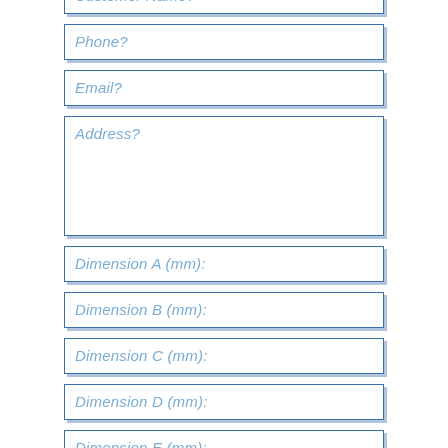Customer Name?
Phone?
Email?
Address?
Dimension A (mm):
Dimension B (mm):
Dimension C (mm):
Dimension D (mm):
Dimension E (mm):